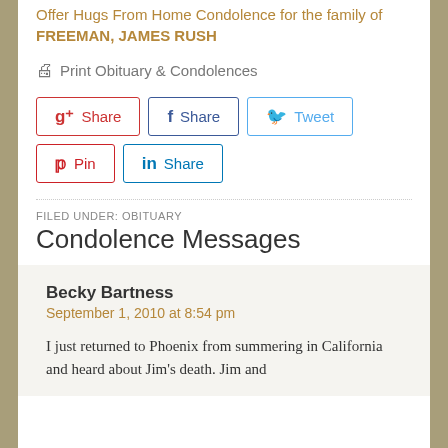Offer Hugs From Home Condolence for the family of FREEMAN, JAMES RUSH
🖨 Print Obituary & Condolences
Social share buttons: g+ Share, f Share, Tweet, Pin, in Share
FILED UNDER: OBITUARY
Condolence Messages
Becky Bartness
September 1, 2010 at 8:54 pm

I just returned to Phoenix from summering in California and heard about Jim's death. Jim and